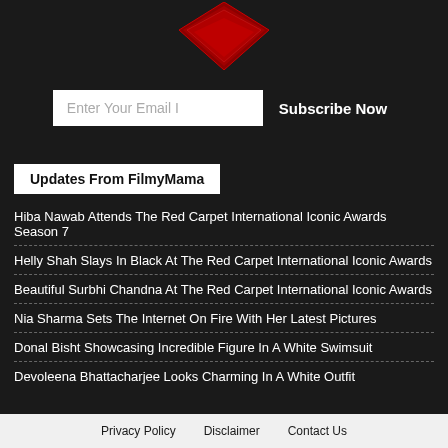[Figure (logo): Red diamond/heart shaped FilmyMama logo at top center]
Enter Your Email I
Subscribe Now
Updates From FilmyMama
Hiba Nawab Attends The Red Carpet International Iconic Awards Season 7
Helly Shah Slays In Black At The Red Carpet International Iconic Awards
Beautiful Surbhi Chandna At The Red Carpet International Iconic Awards
Nia Sharma Sets The Internet On Fire With Her Latest Pictures
Donal Bisht Showcasing Incredible Figure In A White Swimsuit
Devoleena Bhattacharjee Looks Charming In A White Outfit
Privacy Policy   Disclaimer   Contact Us